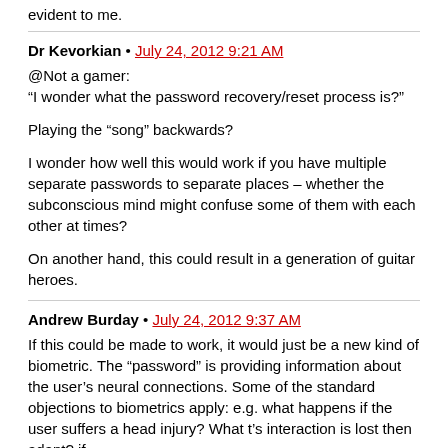evident to me.
Dr Kevorkian • July 24, 2012 9:21 AM
@Not a gamer:
"I wonder what the password recovery/reset process is?"

Playing the “song” backwards?

I wonder how well this would work if you have multiple separate passwords to separate places – whether the subconscious mind might confuse some of them with each other at times?

On another hand, this could result in a generation of guitar heroes.
Andrew Burday • July 24, 2012 9:37 AM
If this could be made to work, it would just be a new kind of biometric. The “password” is providing information about the user’s neural connections. Some of the standard objections to biometrics apply: e.g. what happens if the user suffers a head injury? What if it is resistant to the adapt? if